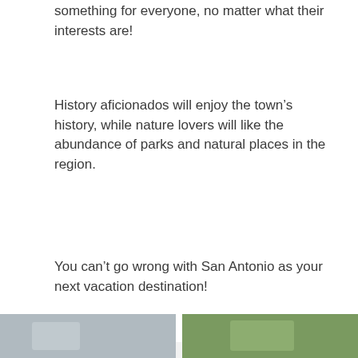something for everyone, no matter what their interests are!
History aficionados will enjoy the town’s history, while nature lovers will like the abundance of parks and natural places in the region.
You can’t go wrong with San Antonio as your next vacation destination!
Explore more on our website bbalessandra.com!
[Figure (photo): Two thumbnail photos at the bottom: left appears to be a scenic/food photo, right appears to be a garden/nature photo]